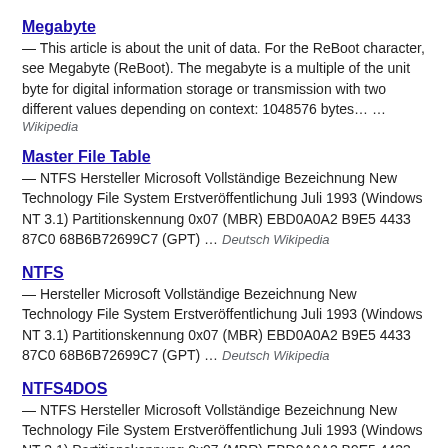Megabyte — This article is about the unit of data. For the ReBoot character, see Megabyte (ReBoot). The megabyte is a multiple of the unit byte for digital information storage or transmission with two different values depending on context: 1048576 bytes… … Wikipedia
Master File Table — NTFS Hersteller Microsoft Vollständige Bezeichnung New Technology File System Erstveröffentlichung Juli 1993 (Windows NT 3.1) Partitionskennung 0x07 (MBR) EBD0A0A2 B9E5 4433 87C0 68B6B72699C7 (GPT) … Deutsch Wikipedia
NTFS — Hersteller Microsoft Vollständige Bezeichnung New Technology File System Erstveröffentlichung Juli 1993 (Windows NT 3.1) Partitionskennung 0x07 (MBR) EBD0A0A2 B9E5 4433 87C0 68B6B72699C7 (GPT) … Deutsch Wikipedia
NTFS4DOS — NTFS Hersteller Microsoft Vollständige Bezeichnung New Technology File System Erstveröffentlichung Juli 1993 (Windows NT 3.1) Partitionskennung 0x07 (MBR) EBD0A0A2 B9E5 4433 87C0 68B6B72699C7 (GPT) … Deutsch Wikipedia